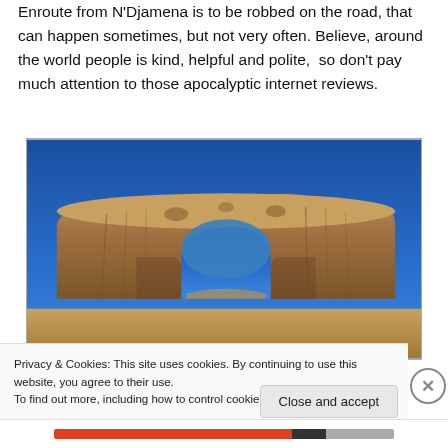Enroute from N'Djamena is to be robbed on the road, that can happen sometimes, but not very often. Believe, around the world people is kind, helpful and polite,  so don't pay much attention to those apocalyptic internet reviews.
[Figure (photo): Photo of a natural sandstone rock arch formation under a vivid blue sky in a desert landscape]
Privacy & Cookies: This site uses cookies. By continuing to use this website, you agree to their use.
To find out more, including how to control cookies, see here: Cookie Policy